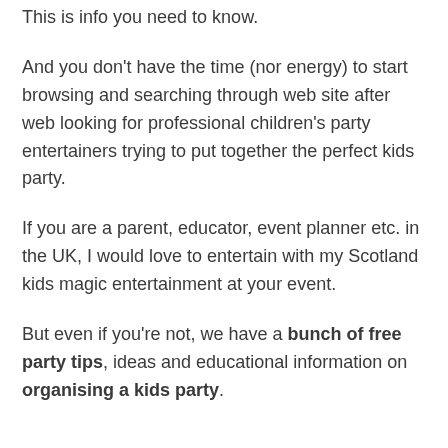This is info you need to know.
And you don't have the time (nor energy) to start browsing and searching through web site after web looking for professional children's party entertainers trying to put together the perfect kids party.
If you are a parent, educator, event planner etc. in the UK, I would love to entertain with my Scotland kids magic entertainment at your event.
But even if you're not, we have a bunch of free party tips, ideas and educational information on organising a kids party.